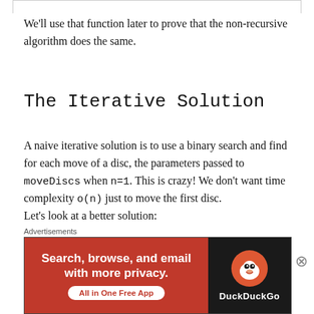We'll use that function later to prove that the non-recursive algorithm does the same.
The Iterative Solution
A naive iterative solution is to use a binary search and find for each move of a disc, the parameters passed to moveDiscs when n=1. This is crazy! We don't want time complexity o(n) just to move the first disc.
Let's look at a better solution:
Repeat the 3 steps in table 1 until all discs are
[Figure (infographic): DuckDuckGo advertisement banner: orange/red left panel with 'Search, browse, and email with more privacy. All in One Free App' and dark right panel with DuckDuckGo duck logo and brand name.]